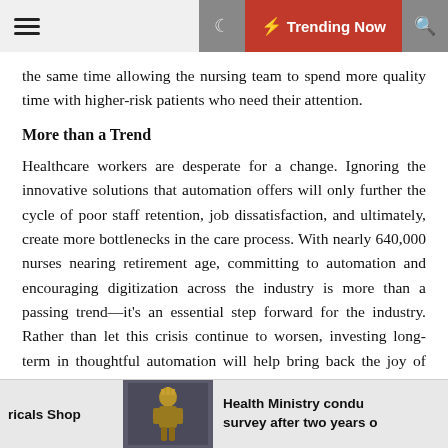Trending Now
the same time allowing the nursing team to spend more quality time with higher-risk patients who need their attention.
More than a Trend
Healthcare workers are desperate for a change. Ignoring the innovative solutions that automation offers will only further the cycle of poor staff retention, job dissatisfaction, and ultimately, create more bottlenecks in the care process. With nearly 640,000 nurses nearing retirement age, committing to automation and encouraging digitization across the industry is more than a passing trend—it's an essential step forward for the industry. Rather than let this crisis continue to worsen, investing long-term in thoughtful automation will help bring back the joy of nursing.
ricals Shop | Health Ministry conducts survey after two years of...